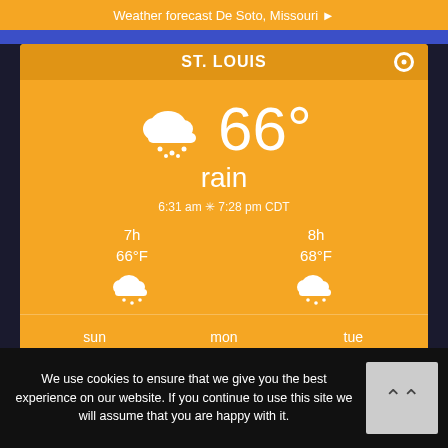Weather forecast De Soto, Missouri ▸
[Figure (screenshot): Weather widget showing ST. LOUIS weather: 66° rain, 6:31 am to 7:28 pm CDT. Hourly: 7h 66°F rain, 8h 68°F rain. Daily: sun 79/66°F, mon 79/66°F, tue 81/66°F. All with weather icons on orange background.]
We use cookies to ensure that we give you the best experience on our website. If you continue to use this site we will assume that you are happy with it.